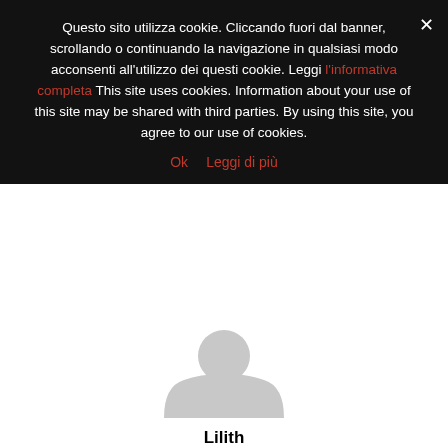Questo sito utilizza cookie. Cliccando fuori dal banner, scrollando o continuando la navigazione in qualsiasi modo acconsenti all'utilizzo dei questi cookie. Leggi l'informativa completa This site uses cookies. Information about your use of this site may be shared with third parties. By using this site, you agree to our use of cookies.
Ok   Leggi di più
[Figure (illustration): Grey avatar/profile placeholder silhouette on white background]
Lilith
Amante dell'horror, del mistero e del macabro sin da bambina, ha deciso di creare questo sito per tutti gli appassionati di horror e macabro. Crea per i suoi lettori articoli unici che rende disponibili in questo sito e nel relativo canale youtube, per veri appassionati del genere.
RELATED ARTICLES   MORE FROM AUTHOR
[Figure (photo): Three article thumbnail images: colorful horror/fantasy scene, black-and-white group photo of people, and a newspaper/magazine clipping with faces]